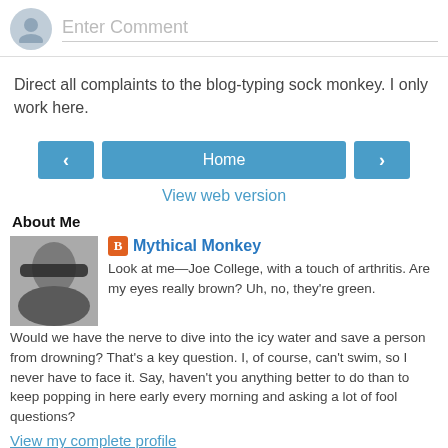Enter Comment
Direct all complaints to the blog-typing sock monkey. I only work here.
Home
View web version
About Me
[Figure (photo): Profile photo of a man wearing sunglasses]
Mythical Monkey
Look at me—Joe College, with a touch of arthritis. Are my eyes really brown? Uh, no, they're green. Would we have the nerve to dive into the icy water and save a person from drowning? That's a key question. I, of course, can't swim, so I never have to face it. Say, haven't you anything better to do than to keep popping in here early every morning and asking a lot of fool questions?
View my complete profile